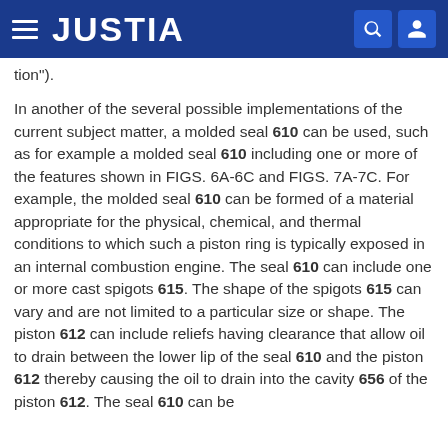JUSTIA
tion").
In another of the several possible implementations of the current subject matter, a molded seal 610 can be used, such as for example a molded seal 610 including one or more of the features shown in FIGS. 6A-6C and FIGS. 7A-7C. For example, the molded seal 610 can be formed of a material appropriate for the physical, chemical, and thermal conditions to which such a piston ring is typically exposed in an internal combustion engine. The seal 610 can include one or more cast spigots 615. The shape of the spigots 615 can vary and are not limited to a particular size or shape. The piston 612 can include reliefs having clearance that allow oil to drain between the lower lip of the seal 610 and the piston 612 thereby causing the oil to drain into the cavity 656 of the piston 612. The seal 610 can be